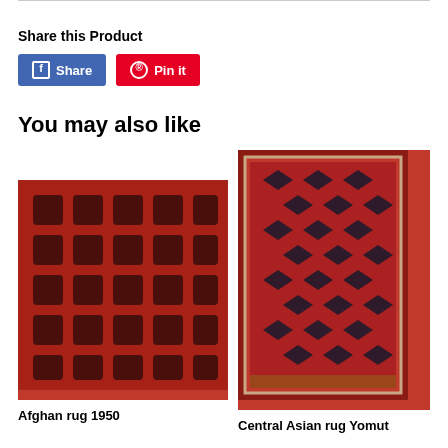Share this Product
Share  Pin it
You may also like
[Figure (photo): Afghan rug 1950 - red rug with dark geometric patterns photographed from above]
Afghan rug 1950
[Figure (photo): Central Asian rug Yomut - red rug with repeating diamond/octagon patterns and decorative border]
Central Asian rug Yomut